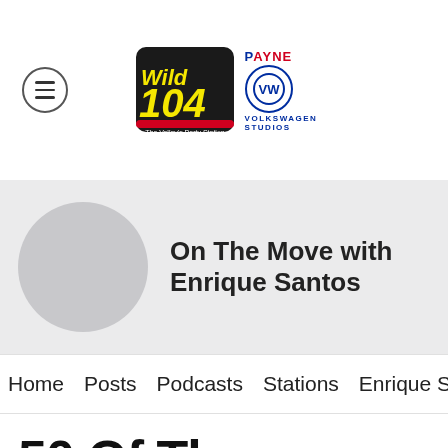[Figure (logo): Wild 104 radio station logo with Payne Volkswagen Studios sponsor logo]
On The Move with Enrique Santos
Home | Posts | Podcasts | Stations | Enrique S
50 Of The Longest-Lasting